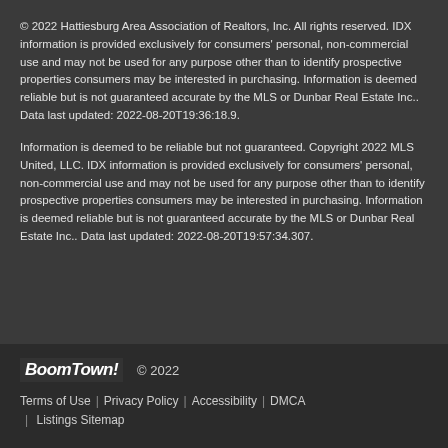© 2022 Hattiesburg Area Association of Realtors, Inc. All rights reserved. IDX information is provided exclusively for consumers' personal, non-commercial use and may not be used for any purpose other than to identify prospective properties consumers may be interested in purchasing. Information is deemed reliable but is not guaranteed accurate by the MLS or Dunbar Real Estate Inc.. Data last updated: 2022-08-20T19:36:18.9.
Information is deemed to be reliable but not guaranteed. Copyright 2022 MLS United, LLC. IDX information is provided exclusively for consumers' personal, non-commercial use and may not be used for any purpose other than to identify prospective properties consumers may be interested in purchasing. Information is deemed reliable but is not guaranteed accurate by the MLS or Dunbar Real Estate Inc.. Data last updated: 2022-08-20T19:57:34.307.
BoomTown! © 2022
Terms of Use | Privacy Policy | Accessibility | DMCA | Listings Sitemap